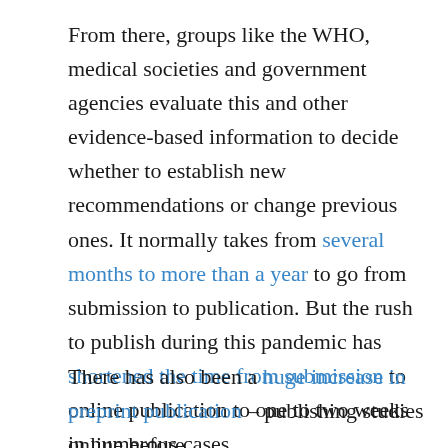From there, groups like the WHO, medical societies and government agencies evaluate this and other evidence-based information to decide whether to establish new recommendations or change previous ones. It normally takes from several months to more than a year to go from submission to publication. But the rush to publish during this pandemic has shortened the time from submission to online publication to one to two weeks in numerous cases.
There has also been a huge increase in preprint publication – publishing studies online before